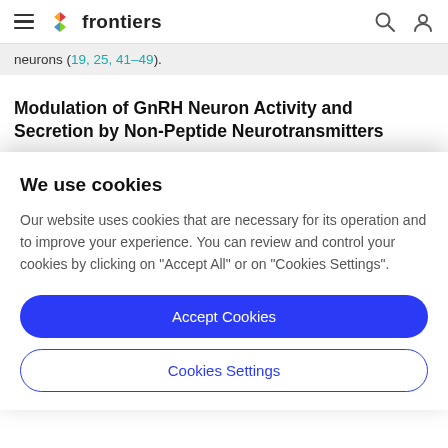frontiers
neurons (19, 25, 41–49).
Modulation of GnRH Neuron Activity and Secretion by Non-Peptide Neurotransmitters
We use cookies
Our website uses cookies that are necessary for its operation and to improve your experience. You can review and control your cookies by clicking on "Accept All" or on "Cookies Settings".
Accept Cookies
Cookies Settings